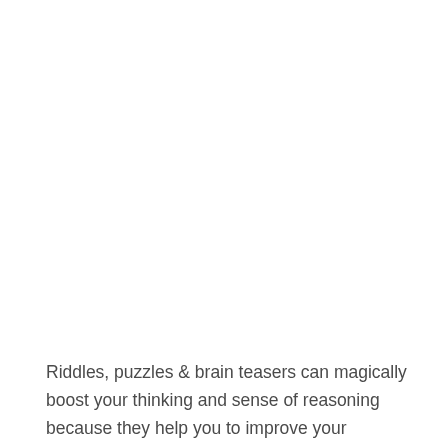Riddles, puzzles & brain teasers can magically boost your thinking and sense of reasoning because they help you to improve your concentration more and more, keep you mentally fit and also they